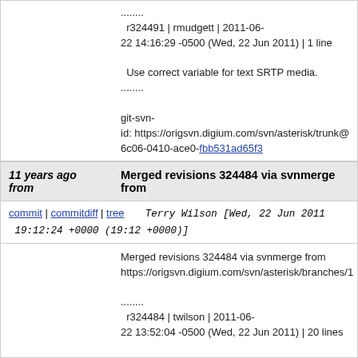........ r324491 | rmudgett | 2011-06-22 14:16:29 -0500 (Wed, 22 Jun 2011) | 1 line

Use correct variable for text SRTP media.
........

git-svn-id: https://origsvn.digium.com/svn/asterisk/trunk@6c06-0410-ace0-fbb531ad65f3
11 years ago from   Merged revisions 324484 via svnmerge from
commit | commitdiff | tree   Terry Wilson [Wed, 22 Jun 2011 19:12:24 +0000 (19:12 +0000)]
Merged revisions 324484 via svnmerge from https://origsvn.digium.com/svn/asterisk/branches/1

........ r324484 | twilson | 2011-06-22 13:52:04 -0500 (Wed, 22 Jun 2011) | 20 lines

Stop sending IPv6 link-local scope-ids in SIP messages

The idea behind the patch listed below was used. There are now address stringification functions fo